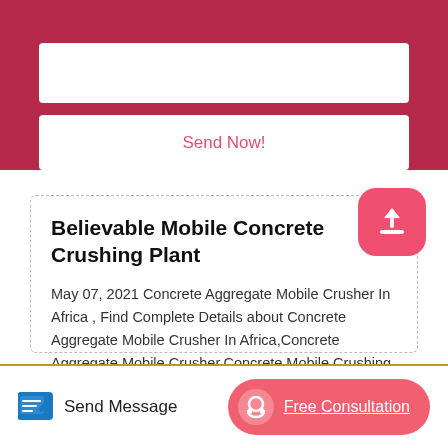[Figure (screenshot): Red background form section with white input box and Send Now button]
Believable Mobile Concrete Crushing Plant
May 07, 2021 Concrete Aggregate Mobile Crusher In Africa , Find Complete Details about Concrete Aggregate Mobile Crusher In Africa,Concrete Aggregate Mobile Crusher,Concrete Mobile Crushing Plant,Aggregate Mobile Crusher from Crusher Supplier or Manufacturer-Shanghai Dongmeng Road Bridge Machinery .
[Figure (illustration): Pink rounded square upload/share icon (arrow pointing up from tray)]
Send Message
Free Consultation